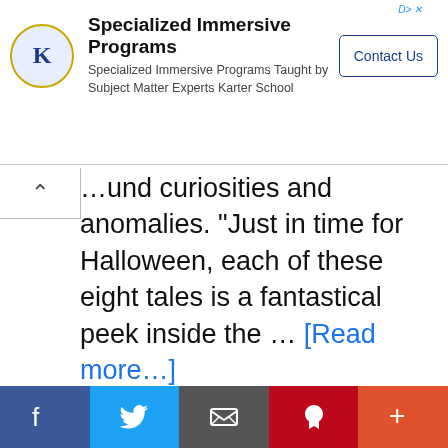[Figure (screenshot): Advertisement banner for Karter School Specialized Immersive Programs with logo, text, and Contact Us button]
...und curiosities and anomalies. “Just in time for Halloween, each of these eight tales is a fantastical peek inside the … [Read more...]
Filed Under: Uncategorized
Cabinet of Curiosities, Guillermo del Toro, Guillermo del Toro’s Cabinet of Curiosities, horror, Netflix, Movies & TV, films guillermo del toro, antlers guillermo del toro, cthulhu at the mountains of madness guillermo del toro, wizards guillermo del toro, sally hawkins ghost...
[Figure (screenshot): Social sharing bar with Facebook, Twitter, Email, Pinterest, and More buttons]